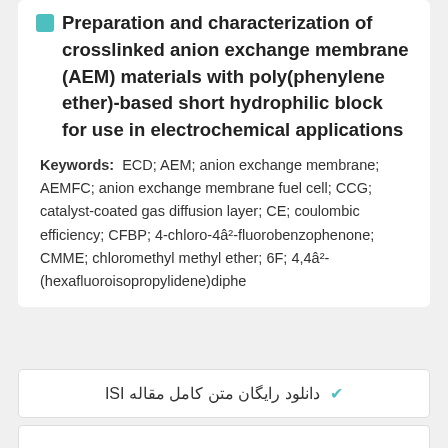Preparation and characterization of crosslinked anion exchange membrane (AEM) materials with poly(phenylene ether)-based short hydrophilic block for use in electrochemical applications
Keywords: ECD; AEM; anion exchange membrane; AEMFC; anion exchange membrane fuel cell; CCG; catalyst-coated gas diffusion layer; CE; coulombic efficiency; CFBP; 4-chloro-4â²-fluorobenzophenone; CMME; chloromethyl methyl ether; 6F; 4,4â²-(hexafluoroisopropylidene)diphe
✔ دانلود رایگان متن کامل مقاله ISI